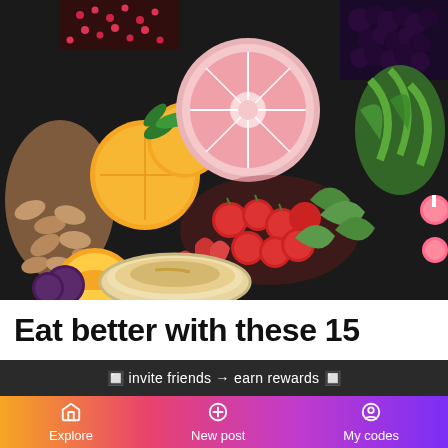[Figure (photo): Flat lay of assorted healthy foods including oranges, grapefruit, almonds, cherry tomatoes, strawberries, blackberries, pomegranate seeds, leafy greens, radishes, and a bowl of hummus on a dark background.]
Eat better with these 15
🔲 invite friends → earn rewards 🔲
Explore   New post   My codes